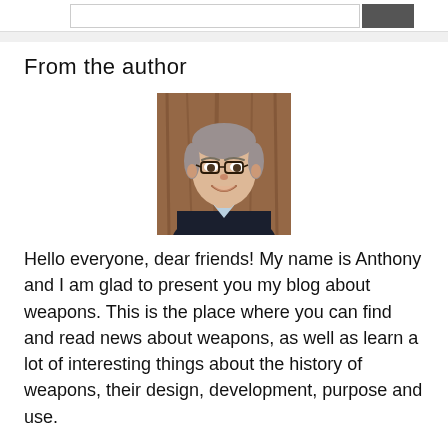From the author
[Figure (photo): Portrait photo of a man with glasses and gray hair, smiling, wearing a dark suit jacket with a light blue shirt, against a brown wooden background.]
Hello everyone, dear friends! My name is Anthony and I am glad to present you my blog about weapons. This is the place where you can find and read news about weapons, as well as learn a lot of interesting things about the history of weapons, their design, development, purpose and use.